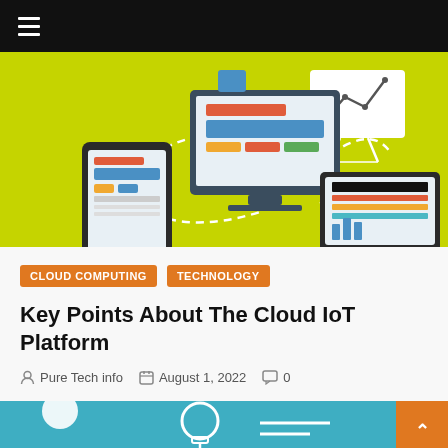☰
[Figure (illustration): Hero image on yellow-green background showing a desktop monitor, tablet, and laptop with UI wireframe elements, connected by dashed curved lines, and a chart on an easel in the background.]
CLOUD COMPUTING   TECHNOLOGY
Key Points About The Cloud IoT Platform
Pure Tech info   August 1, 2022   0
[Figure (illustration): Bottom section with teal/cyan background showing partial illustration of people and a lightbulb icon.]